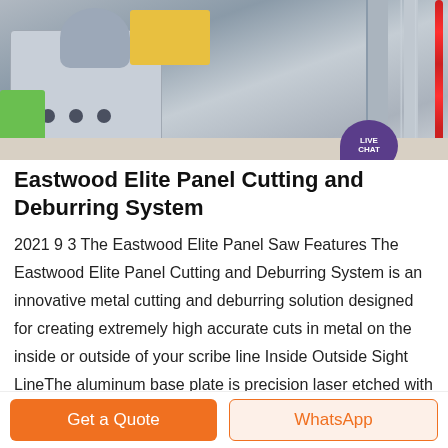[Figure (photo): Industrial metal cutting and deburring machine in a factory setting. A large grey machine body with yellow component on top, ventilation fan, circular holes on front. Green waste bin on left. Metal pipes and scaffolding structure visible on right side.]
Eastwood Elite Panel Cutting and Deburring System
2021 9 3 The Eastwood Elite Panel Saw Features The Eastwood Elite Panel Cutting and Deburring System is an innovative metal cutting and deburring solution designed for creating extremely high accurate cuts in metal on the inside or outside of your scribe line Inside Outside Sight LineThe aluminum base plate is precision laser etched with blade
Get a Quote | WhatsApp